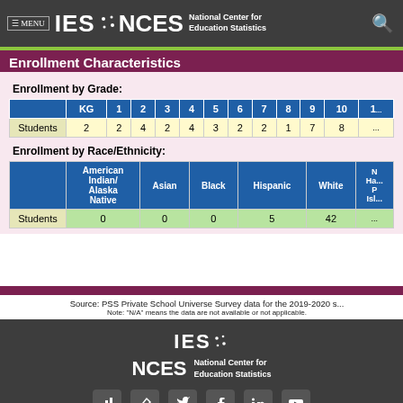IES NCES National Center for Education Statistics
Enrollment Characteristics
Enrollment by Grade:
|  | KG | 1 | 2 | 3 | 4 | 5 | 6 | 7 | 8 | 9 | 10 | 1... |
| --- | --- | --- | --- | --- | --- | --- | --- | --- | --- | --- | --- | --- |
| Students | 2 | 2 | 4 | 2 | 4 | 3 | 2 | 2 | 1 | 7 | 8 | ... |
Enrollment by Race/Ethnicity:
|  | American Indian/Alaska Native | Asian | Black | Hispanic | White | N... Haw... P... Isl... |
| --- | --- | --- | --- | --- | --- | --- |
| Students | 0 | 0 | 0 | 5 | 42 | ... |
Source: PSS Private School Universe Survey data for the 2019-2020 s...
Note: "N/A" means the data are not available or not applicable.
[Figure (logo): IES NCES National Center for Education Statistics footer logo with social media icons]